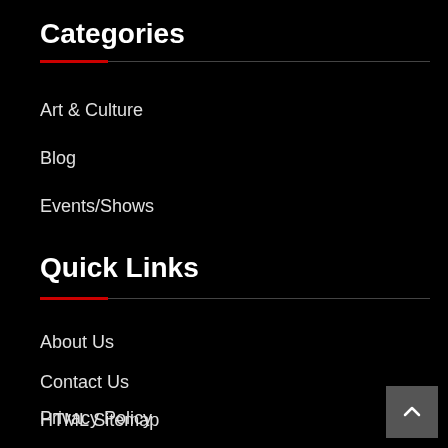Categories
Art & Culture
Blog
Events/Shows
Quick Links
About Us
Contact Us
HTML Sitemap
Privacy Policy